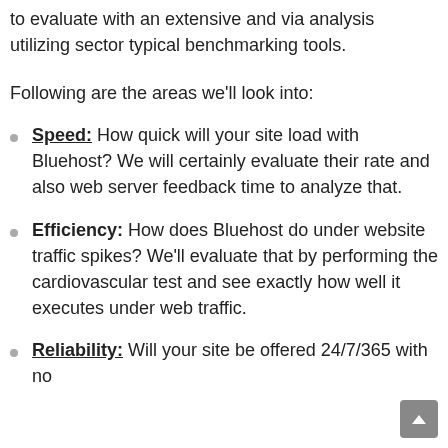to evaluate with an extensive and via analysis utilizing sector typical benchmarking tools.
Following are the areas we'll look into:
Speed: How quick will your site load with Bluehost? We will certainly evaluate their rate and also web server feedback time to analyze that.
Efficiency: How does Bluehost do under website traffic spikes? We'll evaluate that by performing the cardiovascular test and see exactly how well it executes under web traffic.
Reliability: Will your site be offered 24/7/365 with no